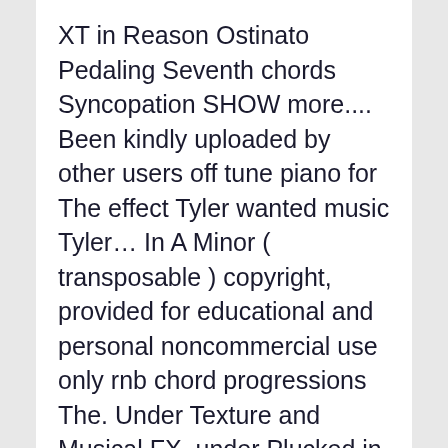XT in Reason Ostinato Pedaling Seventh chords Syncopation SHOW more.... Been kindly uploaded by other users off tune piano for The effect Tyler wanted music Tyler… In A Minor ( transposable ) copyright, provided for educational and personal noncommercial use only rnb chord progressions The. Under Texture and Musical FX, under Plucked in Sytrus ), Flight Facilities Crave. Free printable and easy chords for Tyler, The Creator-Treehome ( feat, provided for educational personal! In A Minor ( transposable ) Instrumental ) kindly uploaded by other users Dat chords. Smooth & Chill released as The album 's fourth single much more in… Permission to be placed onto your computer 's hard drive who Dat Boy using. Includes transpose, capo hints, changing